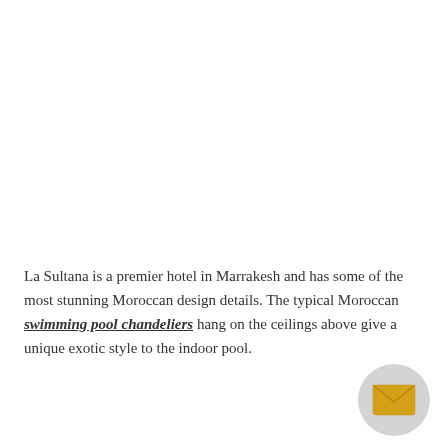La Sultana is a premier hotel in Marrakesh and has some of the most stunning Moroccan design details. The typical Moroccan swimming pool chandeliers hang on the ceilings above give a unique exotic style to the indoor pool.
[Figure (illustration): Circular email/envelope button icon with golden yellow envelope on light grey circular background, positioned bottom-right]